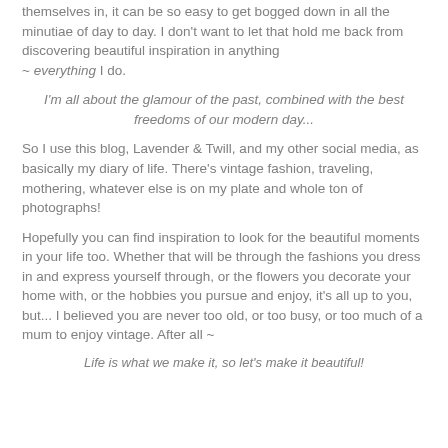themselves in, it can be so easy to get bogged down in all the minutiae of day to day. I don't want to let that hold me back from discovering beautiful inspiration in anything ~ everything I do.
I'm all about the glamour of the past, combined with the best freedoms of our modern day...
So I use this blog, Lavender & Twill, and my other social media, as basically my diary of life. There's vintage fashion, traveling, mothering, whatever else is on my plate and whole ton of photographs!
Hopefully you can find inspiration to look for the beautiful moments in your life too. Whether that will be through the fashions you dress in and express yourself through, or the flowers you decorate your home with, or the hobbies you pursue and enjoy, it's all up to you, but... I believed you are never too old, or too busy, or too much of a mum to enjoy vintage. After all ~
Life is what we make it, so let's make it beautiful!